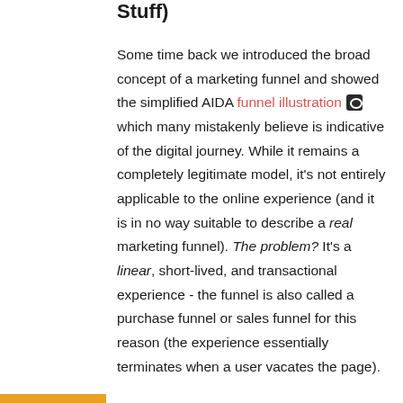Stuff)
Some time back we introduced the broad concept of a marketing funnel and showed the simplified AIDA funnel illustration which many mistakenly believe is indicative of the digital journey. While it remains a completely legitimate model, it's not entirely applicable to the online experience (and it is in no way suitable to describe a real marketing funnel). The problem? It's a linear, short-lived, and transactional experience - the funnel is also called a purchase funnel or sales funnel for this reason (the experience essentially terminates when a user vacates the page).